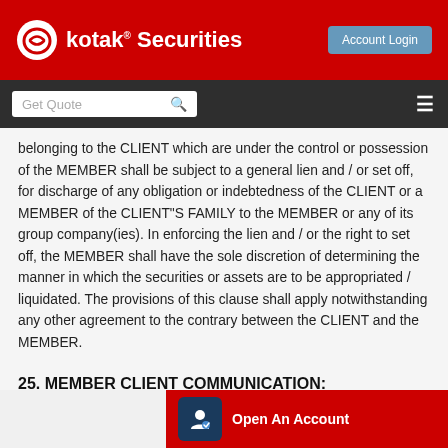kotak® Securities — Account Login
belonging to the CLIENT which are under the control or possession of the MEMBER shall be subject to a general lien and / or set off, for discharge of any obligation or indebtedness of the CLIENT or a MEMBER of the CLIENT"S FAMILY to the MEMBER or any of its group company(ies). In enforcing the lien and / or the right to set off, the MEMBER shall have the sole discretion of determining the manner in which the securities or assets are to be appropriated / liquidated. The provisions of this clause shall apply notwithstanding any other agreement to the contrary between the CLIENT and the MEMBER.
25. MEMBER CLIENT COMMUNICATION: